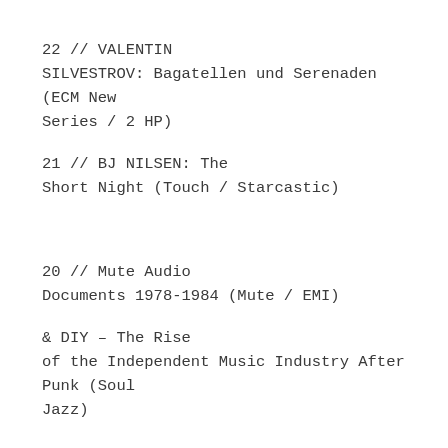22 // VALENTIN SILVESTROV: Bagatellen und Serenaden (ECM New Series / 2 HP)
21 // BJ NILSEN: The Short Night (Touch / Starcastic)
20 // Mute Audio Documents 1978-1984 (Mute / EMI)
& DIY – The Rise of the Independent Music Industry After Punk (Soul Jazz)